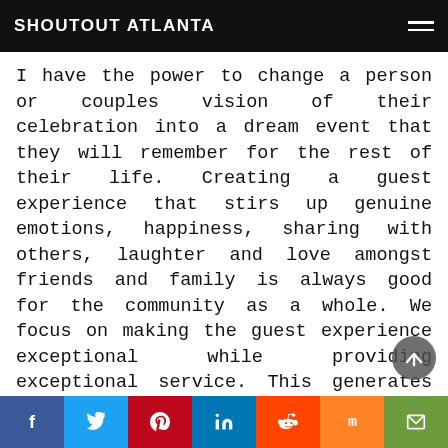SHOUTOUT ATLANTA
I have the power to change a person or couples vision of their celebration into a dream event that they will remember for the rest of their life. Creating a guest experience that stirs up genuine emotions, happiness, sharing with others, laughter and love amongst friends and family is always good for the community as a whole. We focus on making the guest experience exceptional while providing exceptional service. This generates good news and vibes for the young and old. This also generates conversation and excitement. Celebrating small and big wins, weddings, life milestones, birthdays, etc. is always well received. Intimate celebrations are
f  twitter  p  in  reddit  m  email